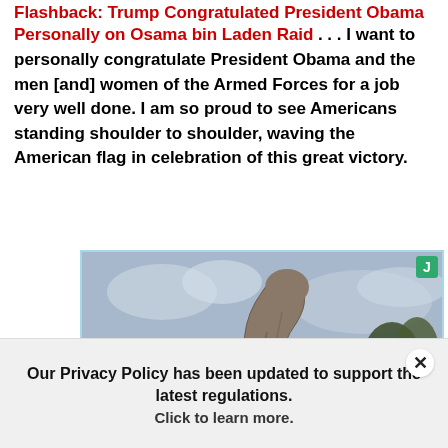Flashback: Trump Congratulated President Obama Personally on Osama bin Laden Raid . . . I want to personally congratulate President Obama and the men [and] women of the Armed Forces for a job very well done. I am so proud to see Americans standing shoulder to shoulder, waving the American flag in celebration of this great victory.
[Figure (photo): Photo of a large stone dinosaur or creature sculpture against a cloudy sky, with trees in background. Overlaid text reads: 'How was it possible for one person to move massive blocks for Florida's Stonehenge?' A green 'J' badge is in the top right corner.]
Our Privacy Policy has been updated to support the latest regulations. Click to learn more.